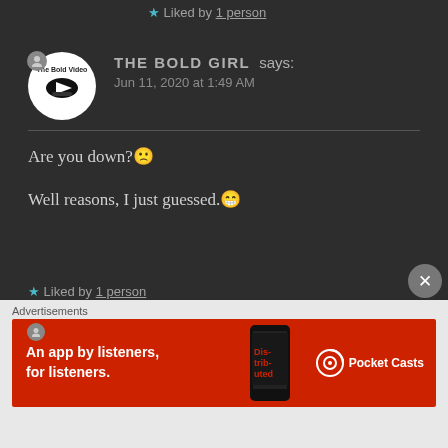★ Liked by 1 person
THE BOLD GIRL says:
Jun 11, 2020 at 1:49 AM
Are you down?😕

Well reasons, I just guessed.😁
★ Liked by 1 person
YASH says:
Advertisements
An app by listeners, for listeners. — Pocket Casts